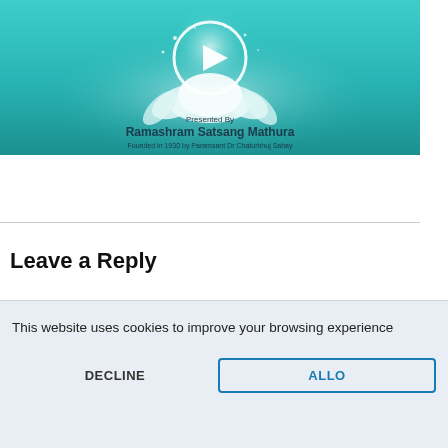[Figure (screenshot): Video thumbnail with teal/aqua background showing a lotus flower and a circular play button. Text reads 'Presented By', 'Ramashram Satsang Mathura', 'Founded in 1930 by Paramsant Dr Chaturbhuj Sahay']
Leave a Reply
This website uses cookies to improve your browsing experience
DECLINE
ALLOW